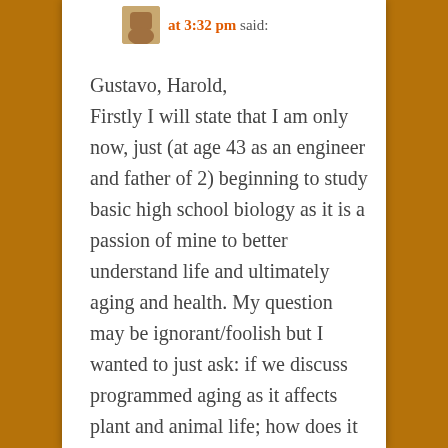at 3:32 pm said:
Gustavo, Harold,
Firstly I will state that I am only now, just (at age 43 as an engineer and father of 2) beginning to study basic high school biology as it is a passion of mine to better understand life and ultimately aging and health. My question may be ignorant/foolish but I wanted to just ask: if we discuss programmed aging as it affects plant and animal life; how does it affect the other kingdoms of life (protista, fungi, eubacteria, archae/archaebacteria),